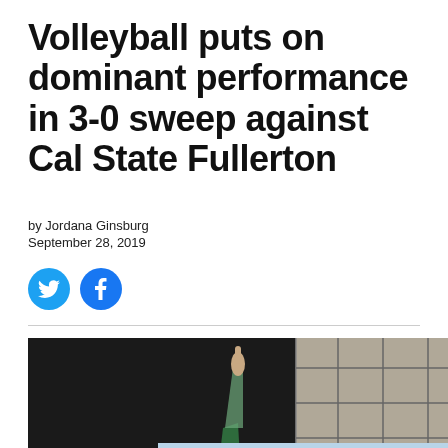Volleyball puts on dominant performance in 3-0 sweep against Cal State Fullerton
by Jordana Ginsburg
September 28, 2019
[Figure (illustration): Twitter and Facebook social share buttons (blue circles with icons)]
[Figure (photo): Volleyball player raising one finger on a dark background, with a volleyball net visible on the right side. A light blue advertisement block partially overlaps the bottom of the image.]